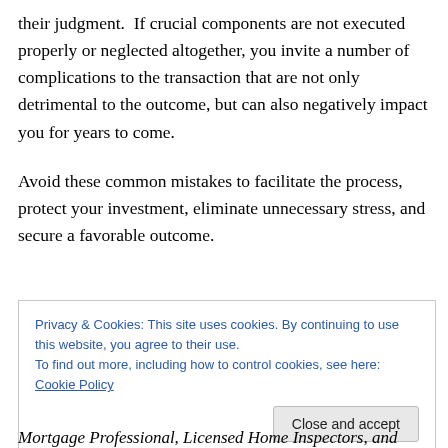their judgment.  If crucial components are not executed properly or neglected altogether, you invite a number of complications to the transaction that are not only detrimental to the outcome, but can also negatively impact you for years to come.
Avoid these common mistakes to facilitate the process, protect your investment, eliminate unnecessary stress, and secure a favorable outcome.
Privacy & Cookies: This site uses cookies. By continuing to use this website, you agree to their use.
To find out more, including how to control cookies, see here: Cookie Policy
Close and accept
Mortgage Professional, Licensed Home Inspectors, and